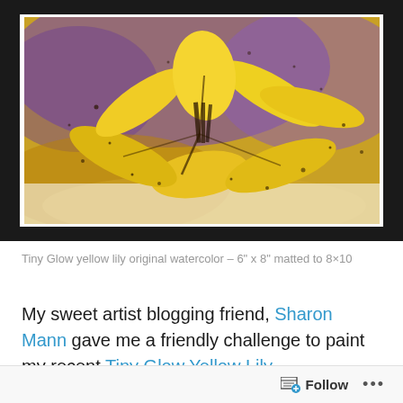[Figure (illustration): A framed watercolor painting of a yellow lily flower on a purple and golden-brown wash background with ink spatter details, displayed against a dark background.]
Tiny Glow yellow lily original watercolor – 6" x 8" matted to 8×10
My sweet artist blogging friend, Sharon Mann gave me a friendly challenge to paint my recent Tiny Glow Yellow Lily